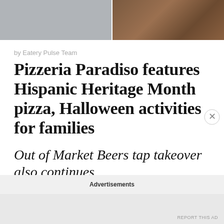[Figure (photo): Split photo strip at top: left half shows grey tiled floor/interior, right half shows a pizza with toppings on a plate]
by Eatery Pulse Team
Pizzeria Paradiso features Hispanic Heritage Month pizza, Halloween activities for families
Out of Market Beers tap takeover also continues
Pizzeria Paradiso continues its Out of Market tap takeovers in October with Fantome Brewery (BE) and The
Advertisements